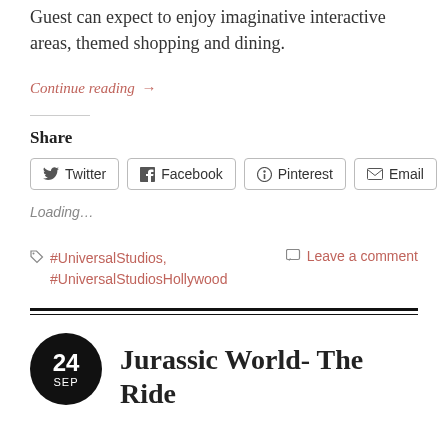Guest can expect to enjoy imaginative interactive areas, themed shopping and dining.
Continue reading →
Share
Twitter  Facebook  Pinterest  Email
Loading…
#UniversalStudios, #UniversalStudiosHollywood
Leave a comment
Jurassic World- The Ride
24 SEP